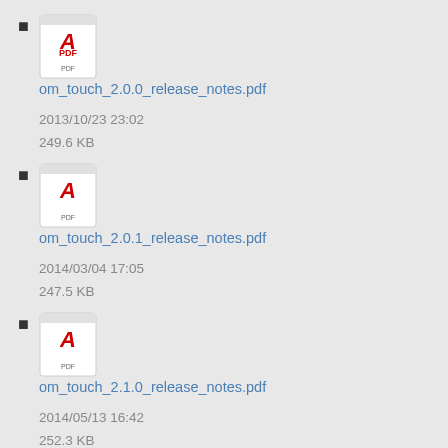om_touch_2.0.0_release_notes.pdf
2013/10/23 23:02
249.6 KB
om_touch_2.0.1_release_notes.pdf
2014/03/04 17:05
247.5 KB
om_touch_2.1.0_release_notes.pdf
2014/05/13 16:42
252.3 KB
om_touch_2.2.0_release_notes.pdf